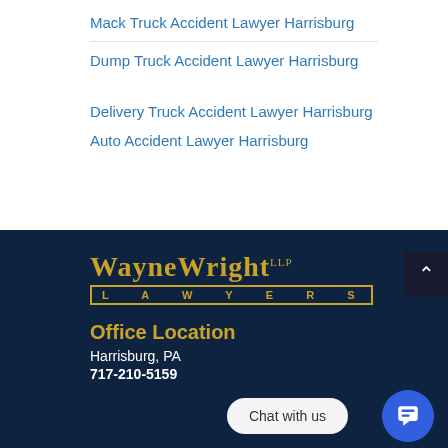Mack Truck Accident Lawyer Harrisburg
Dump Truck Accident Lawyer Harrisburg
Delivery Truck Accident Lawyer Harrisburg
Auto Accident Lawyer Harrisburg
[Figure (logo): Wayne Wright LLP Lawyers logo in gold on dark navy background]
Office Location
Harrisburg, PA
717-210-5159